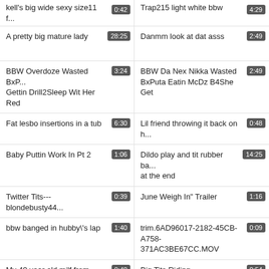kell's big wide sexy size11 f... 0:42
Trap215 light white bbw 4:29
A pretty big mature lady 28:25
Danmm look at dat asss 2:49
BBW Overdoze Wasted BxP... Gettin Drill2Sleep Wit Her Red 3:24
BBW Da Nex Nikka Wasted BxPuta Eatin McDz B4She Get 2:49
Fat lesbo insertions in a tub 6:30
Lil friend throwing it back on h... 0:48
Baby Puttin Work In Pt 2 1:06
Dildo play and tit rubber ba... at the end 14:25
Twitter Tits--- blondebusty44... 0:39
June Weigh In" Trailer 1:16
bbw banged in hubby\'s lap 1:40
trim.6AD96017-2182-45CB-A758-371AC3BE67CC.MOV 0:09
My 49 year old milf from McDonald\'s squeaky ass bed 0:40
Big Tits Riding 0:54
Foda anal com a Esposa 0:33
trim.DB0D6AAA-223B-4BF6-BE5A-A85E3CEE8244.MOV 0:14
Amateur BBW Double Toy Action 5:22
Riding a Thick Cock Hard!!! 7:24